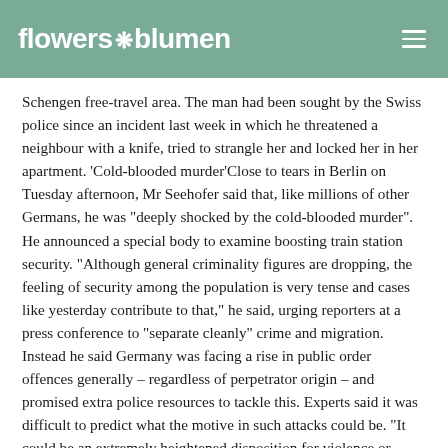flowers❋blumen
Schengen free-travel area. The man had been sought by the Swiss police since an incident last week in which he threatened a neighbour with a knife, tried to strangle her and locked her in her apartment. 'Cold-blooded murder'Close to tears in Berlin on Tuesday afternoon, Mr Seehofer said that, like millions of other Germans, he was "deeply shocked by the cold-blooded murder". He announced a special body to examine boosting train station security. "Although general criminality figures are dropping, the feeling of security among the population is very tense and cases like yesterday contribute to that," he said, urging reporters at a press conference to "separate cleanly" crime and migration. Instead he said Germany was facing a rise in public order offences generally – regardless of perpetrator origin – and promised extra police resources to tackle this. Experts said it was difficult to predict what the motive in such attacks could be. "It could be an extremely heightened disposition for violence or psychological problems, but I would be careful talking of a typical perpetrator profile," said Prof Rudolf Egg, a criminal psychologist, to German television. https://www.irishtimes.com/news/world/europe/man-accused-of-pushing-boy-in-front-of-train-in-frankfurt-was-model-refugee-